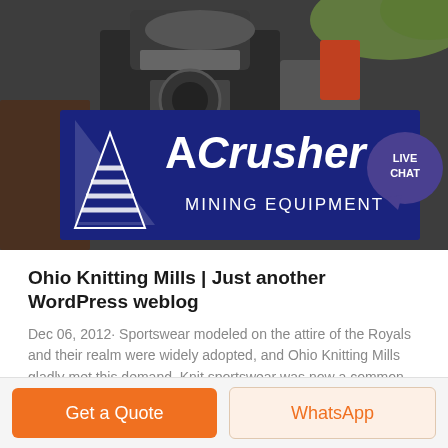[Figure (photo): ACrusher Mining Equipment banner image showing industrial mining machinery with logo overlay on dark blue background. Logo features a triangular 'A' symbol and text 'ACrusher MINING EQUIPMENT' in white on navy blue. A teal speech bubble with 'LIVE CHAT' text appears at top right.]
Ohio Knitting Mills | Just another WordPress weblog
Dec 06, 2012· Sportswear modeled on the attire of the Royals and their realm were widely adopted, and Ohio Knitting Mills gladly met this demand. Knit sportswear was now a common item for a broad cross-section of American men. Sometimes referred to as "poorboy .
Get a Quote
WhatsApp